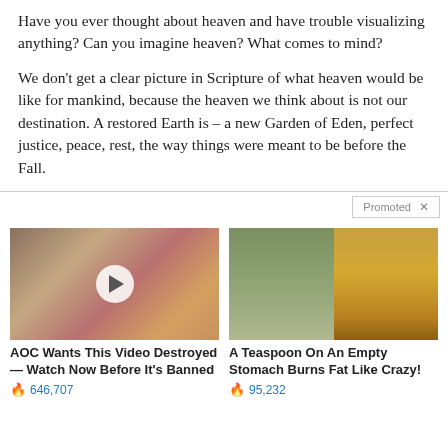Have you ever thought about heaven and have trouble visualizing anything? Can you imagine heaven? What comes to mind?

We don't get a clear picture in Scripture of what heaven would be like for mankind, because the heaven we think about is not our destination. A restored Earth is – a new Garden of Eden, perfect justice, peace, rest, the way things were meant to be before the Fall.
[Figure (other): Promoted content widget with two ad thumbnails. Left ad shows a video thumbnail of two people with a play button overlay, titled 'AOC Wants This Video Destroyed — Watch Now Before It's Banned' with 646,707 engagements. Right ad shows a split image of a woman and spice/powder, titled 'A Teaspoon On An Empty Stomach Burns Fat Like Crazy!' with 95,232 engagements.]